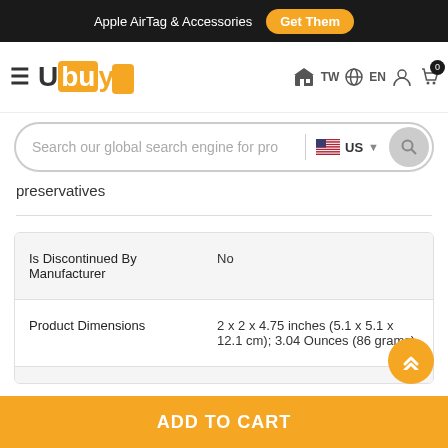Apple AirTag & Accessories  Get Them
[Figure (logo): Ubuy logo with hamburger menu, TW flag, EN language selector, user icon, and cart with badge 0]
[Figure (screenshot): Search bar with placeholder text 'Search our global search engine for pro', US flag region selector, and search button]
preservatives
|  |  |
| --- | --- |
| Is Discontinued By Manufacturer | No |
| Product Dimensions | 2 x 2 x 4.75 inches (5.1 x 5.1 x 12.1 cm); 3.04 Ounces (86 grams) |
ADD TO CART